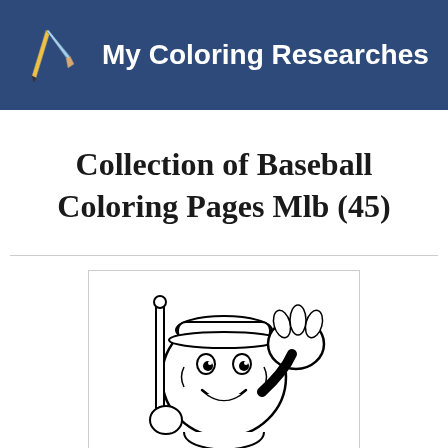My Coloring Researches
Collection of Baseball Coloring Pages Mlb (45)
[Figure (illustration): Cartoon baseball character with a face, wearing a baseball cap, holding a bat and a baseball glove, drawn in black and white coloring page style]